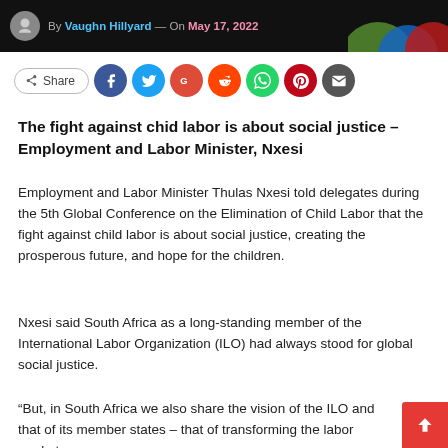By Vaughn Hillyard — On May 17, 2022
[Figure (infographic): Social share buttons row: Share button, Facebook, Twitter, Google+, Reddit, WhatsApp, Pinterest, Email icons]
The fight against chid labor is about social justice – Employment and Labor Minister, Nxesi
Employment and Labor Minister Thulas Nxesi told delegates during the 5th Global Conference on the Elimination of Child Labor that the fight against child labor is about social justice, creating the prosperous future, and hope for the children.
Nxesi said South Africa as a long-standing member of the International Labor Organization (ILO) had always stood for global social justice.
“But, in South Africa we also share the vision of the ILO and that of its member states – that of transforming the labor market